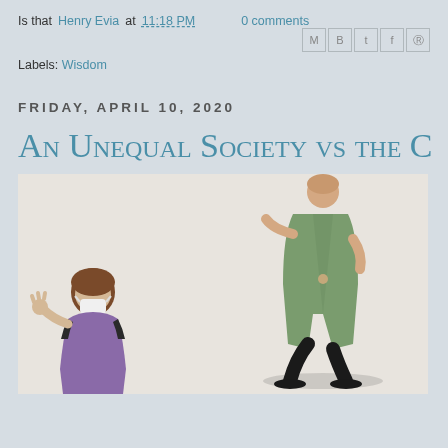Is that Henry Evia at 11:18 PM   0 comments
Labels: Wisdom
FRIDAY, APRIL 10, 2020
An Unequal Society vs the C
[Figure (illustration): Illustration showing two figures: a taller person in a green coat walking, and a smaller seated figure in purple wearing a mask, on a beige/cream background]